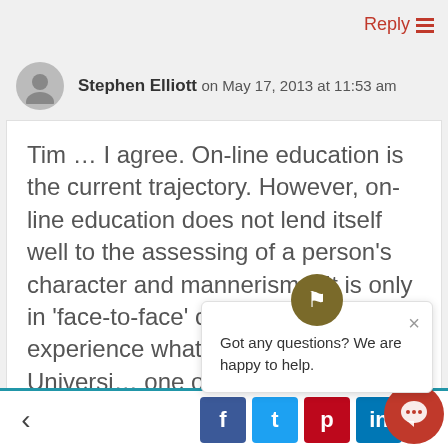Reply
Stephen Elliott on May 17, 2013 at 11:53 am
Tim … I agree. On-line education is the current trajectory. However, on-line education does not lend itself well to the assessing of a person's character and mannerisms. It is only in 'face-to-face' community experience what a person... Kingswood University... one of the few schools that actually makes
Got any questions? We are happy to help.
< f t p li >